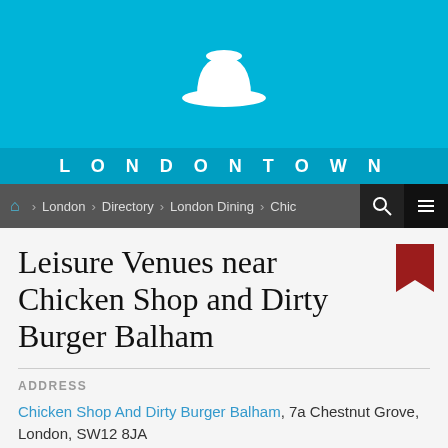[Figure (logo): LondonTown bowler hat logo and site header with cyan/teal background]
LONDONTOWN
London > Directory > London Dining > Chick...
Leisure Venues near Chicken Shop and Dirty Burger Balham
ADDRESS
Chicken Shop And Dirty Burger Balham, 7a Chestnut Grove, London, SW12 8JA
OPENING TIMES
Mon to Fri 12noon-11pm, Sat 10am-11pm, Sun 10am-10pm